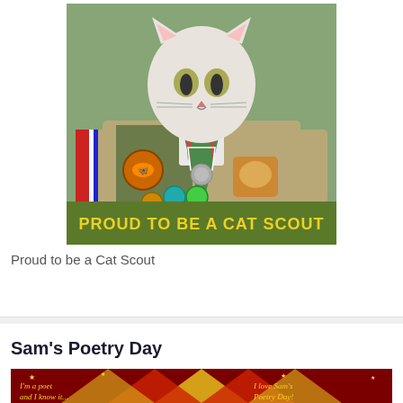[Figure (photo): A cat's face photoshopped onto a Boy Scout uniform body, wearing badges and a neckerchief, with text 'PROUD TO BE A CAT SCOUT' at the bottom of the image, on a green background.]
Proud to be a Cat Scout
Sam's Poetry Day
[Figure (photo): A circus tent banner image with red and gold stripes, stars, and text reading "I'm a poet and I know it..." on the left and "I love Sam's Poetry Day!" on the right, on a dark red background.]